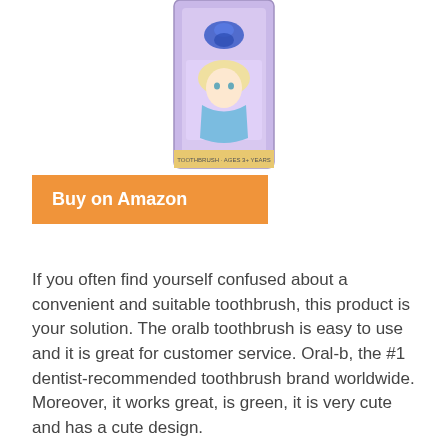[Figure (photo): Product photo of an Oral-B children's electric toothbrush in Frozen/Elsa themed packaging, purple and light blue, shown vertically in retail packaging]
Buy on Amazon
If you often find yourself confused about a convenient and suitable toothbrush, this product is your solution. The oralb toothbrush is easy to use and it is great for customer service. Oral-b, the #1 dentist-recommended toothbrush brand worldwide. Moreover, it works great, is green, it is very cute and has a cute design.